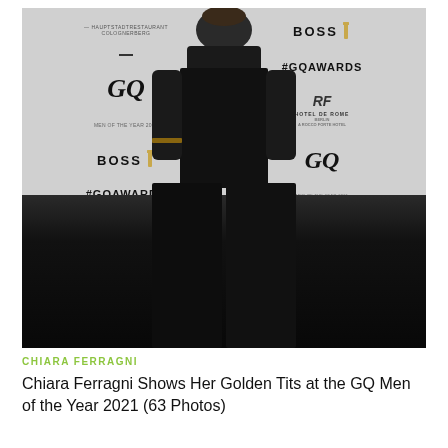[Figure (photo): A woman wearing a black outfit standing in front of a GQ Awards step-and-repeat backdrop featuring BOSS, #GQAWARDS, Hotel de Rome, and GQ logos on a grey background, with a dark/black floor area below]
CHIARA FERRAGNI
Chiara Ferragni Shows Her Golden Tits at the GQ Men of the Year 2021 (63 Photos)